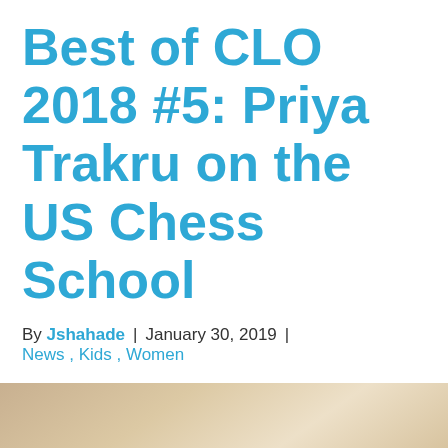Best of CLO 2018 #5: Priya Trakru on the US Chess School
By Jshahade | January 30, 2019 | News , Kids , Women
[Figure (photo): A tan/beige colored image, likely a photo with warm neutral background tones, partially visible at the bottom of the page.]